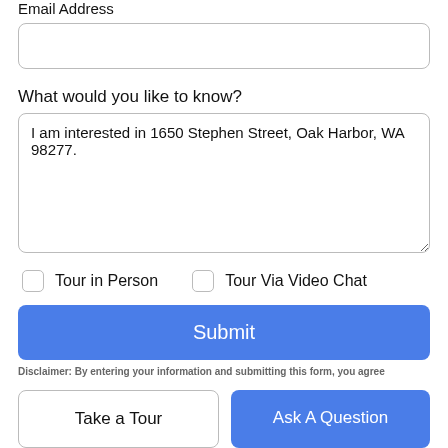Email Address
What would you like to know?
I am interested in 1650 Stephen Street, Oak Harbor, WA 98277.
Tour in Person
Tour Via Video Chat
Submit
Disclaimer: By entering your information and submitting this form, you agree
Take a Tour
Ask A Question